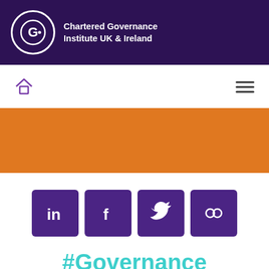Chartered Governance Institute UK & Ireland
[Figure (logo): Chartered Governance Institute UK & Ireland logo with circular G icon on dark purple background]
[Figure (infographic): Navigation bar with home icon on left and hamburger menu icon on right]
[Figure (illustration): Orange banner/hero bar]
[Figure (infographic): Social media icons row: LinkedIn, Facebook, Twitter, Flickr - all purple square buttons]
#Governance
We use cookies on our website. Find out more >